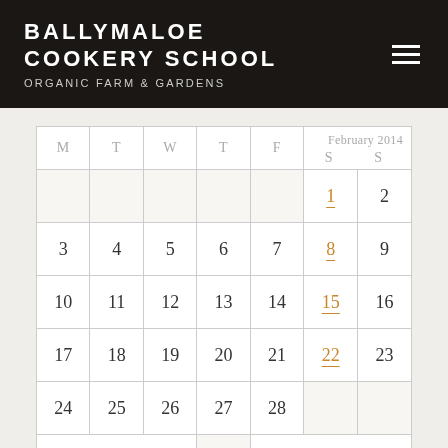BALLYMALOE COOKERY SCHOOL ORGANIC FARM & GARDENS
| M | T | W | T | F | S | S |
| --- | --- | --- | --- | --- | --- | --- |
|  |  |  |  |  | 1 | 2 |
| 3 | 4 | 5 | 6 | 7 | 8 | 9 |
| 10 | 11 | 12 | 13 | 14 | 15 | 16 |
| 17 | 18 | 19 | 20 | 21 | 22 | 23 |
| 24 | 25 | 26 | 27 | 28 |  |  |
| « Jan |  |  |  |  |  | Mar » |